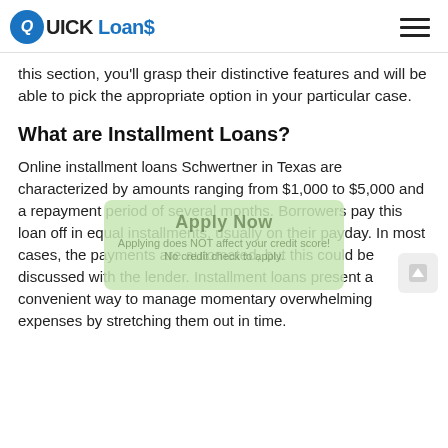QUICK Loans
this section, you'll grasp their distinctive features and will be able to pick the appropriate option in your particular case.
What are Installment Loans?
Online installment loans Schwertner in Texas are characterized by amounts ranging from $1,000 to $5,000 and a repayment period of several months. Borrowers pay this loan off in equal installments, usually on their payday. In most cases, the payments are automated, but this could be discussed with the lender. Installment loans present a convenient way to manage momentary overwhelming expenses by stretching them out in time.
What are Payday Loans?
This type of financial aid is the top pick for a short-term